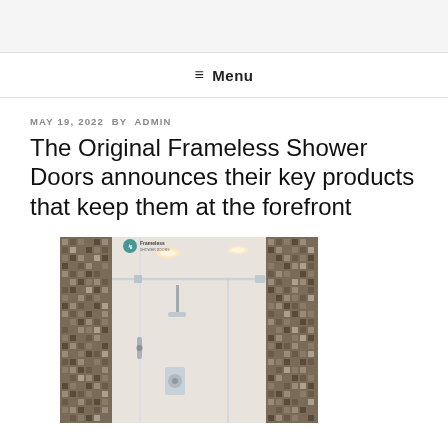≡ Menu
MAY 19, 2022 BY ADMIN
The Original Frameless Shower Doors announces their key products that keep them at the forefront
[Figure (photo): Frameless glass shower enclosure with mosaic tile walls in a modern bathroom, with a Frameless Shower Doors logo watermark in the upper left corner]